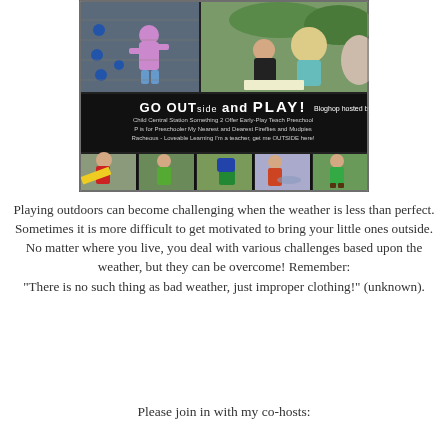[Figure (photo): Blog hop collage image showing children playing outside. Top half shows two photos: a child climbing a rock wall and two children looking at something on the ground outdoors. Middle section has text: 'GO OUTside and PLAY! Bloghop hosted by Child Central Station Something 2 Offer Early-Play Teach Preschool P is for Preschooler My Nearest and Dearest Fireflies and Mudpies Racheous - Loveable Learning I'm a teacher, get me OUTSIDE here!' Bottom half shows five photos of children playing outdoors in various weather.]
Playing outdoors can become challenging when the weather is less than perfect. Sometimes it is more difficult to get motivated to bring your little ones outside. No matter where you live, you deal with various challenges based upon the weather, but they can be overcome! Remember: "There is no such thing as bad weather, just improper clothing!" (unknown).
Please join in with my co-hosts: